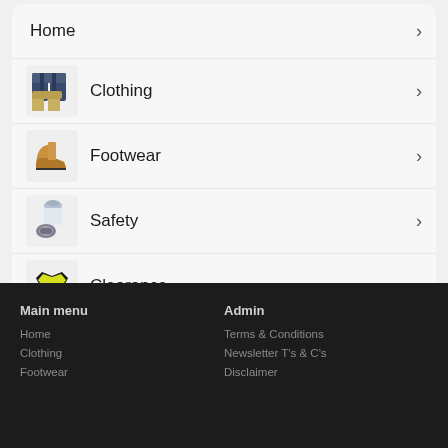Home
Clothing
Footwear
Safety
Clearance
Brands
Main menu
Admin
Home
Clothing
Footwear
Terms & Conditions
Newsletter T's & C's
Disclaimer